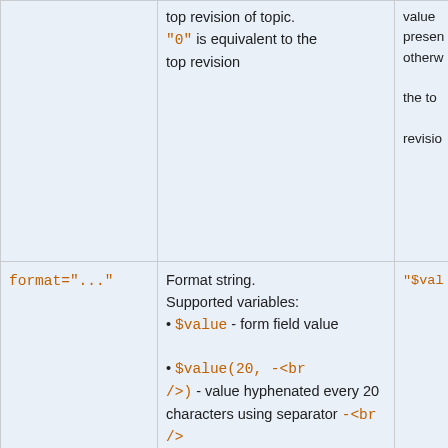| Parameter | Description | Default |
| --- | --- | --- |
|  | top revision of topic. "0" is equivalent to the top revision | value present otherwise the top revision |
| format="..." | Format string. Supported variables:
• $value - form field value
• $value(20, -<br />) - value hyphenated every 20 characters using separator -<br />
• $value(30, ...) - value shortened to 30 characters
• $length - length of value (can be used to | "$val |